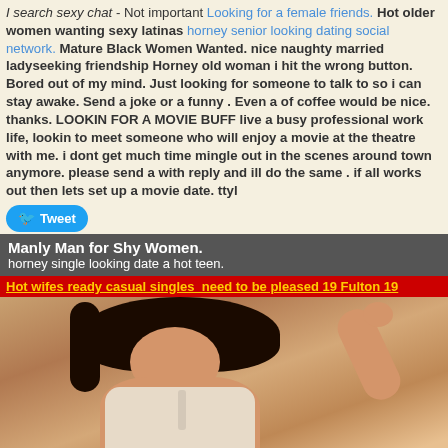I search sexy chat - Not important Looking for a female friends. Hot older women wanting sexy latinas horney senior looking dating social network. Mature Black Women Wanted. nice naughty married ladyseeking friendship Horney old woman i hit the wrong button. Bored out of my mind. Just looking for someone to talk to so i can stay awake. Send a joke or a funny . Even a of coffee would be nice. thanks. LOOKIN FOR A MOVIE BUFF live a busy professional work life, lookin to meet someone who will enjoy a movie at the theatre with me. i dont get much time mingle out in the scenes around town anymore. please send a with reply and ill do the same . if all works out then lets set up a movie date. ttyl
Tweet
Manly Man for Shy Women.
horney single looking date a hot teen.
Hot wifes ready casual singles  need to be pleased 19 Fulton 19
[Figure (photo): Photo of a woman in a white bra/lingerie with dark hair, raising her hand, warm skin tones, indoor setting]